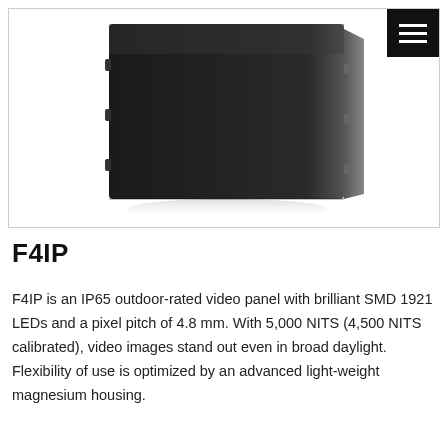[Figure (photo): LED video panel F4IP shown at an angle, thin black rectangular panel with slightly visible edge connectors, on white background. Menu/hamburger icon in top-right corner.]
F4IP
F4IP is an IP65 outdoor-rated video panel with brilliant SMD 1921 LEDs and a pixel pitch of 4.8 mm. With 5,000 NITS (4,500 NITS calibrated), video images stand out even in broad daylight. Flexibility of use is optimized by an advanced light-weight magnesium housing.